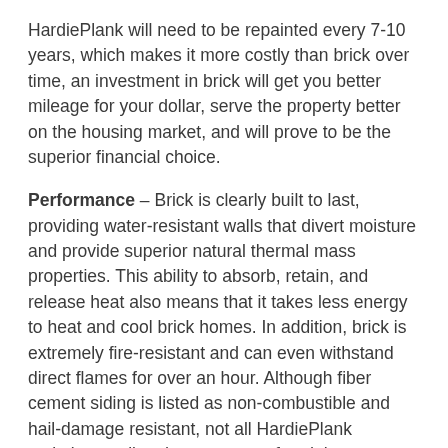HardiePlank will need to be repainted every 7-10 years, which makes it more costly than brick over time, an investment in brick will get you better mileage for your dollar, serve the property better on the housing market, and will prove to be the superior financial choice.
Performance – Brick is clearly built to last, providing water-resistant walls that divert moisture and provide superior natural thermal mass properties. This ability to absorb, retain, and release heat also means that it takes less energy to heat and cool brick homes. In addition, brick is extremely fire-resistant and can even withstand direct flames for over an hour. Although fiber cement siding is listed as non-combustible and hail-damage resistant, not all HardiePlank varieties are listed as waterproof and those products will cost extra for waterproof composition. Fiber cement siding will not perform better than brick!
Ultimately, the stellar combination of appearance,